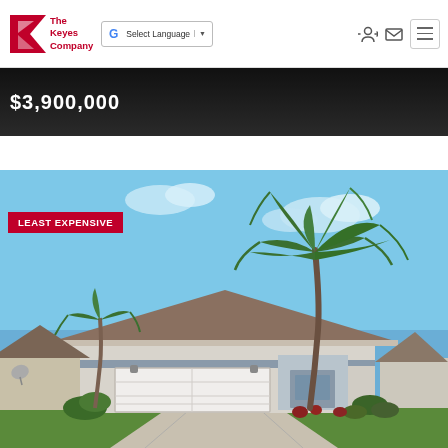[Figure (screenshot): The Keyes Company logo with red K icon and company name]
[Figure (screenshot): Google Translate language selector widget]
[Figure (screenshot): Navigation icons: login, email, hamburger menu]
[Figure (photo): Dark banner strip showing partial price text $3,900,000]
[Figure (photo): Real estate listing photo of a single-family home with palm trees, white garage door, blue sky, labeled LEAST EXPENSIVE]